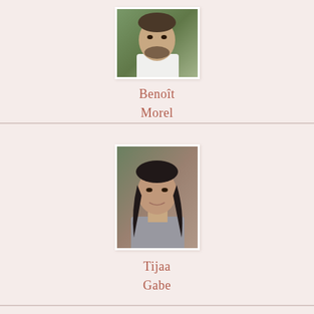[Figure (photo): Portrait photo of Benoît Morel, a man with short dark beard, wearing a white t-shirt, outdoors with green foliage background]
Benoît
Morel
[Figure (photo): Portrait photo of Tijaa Gabe, a woman with long dark hair, smiling slightly, photographed outdoors]
Tijaa
Gabe